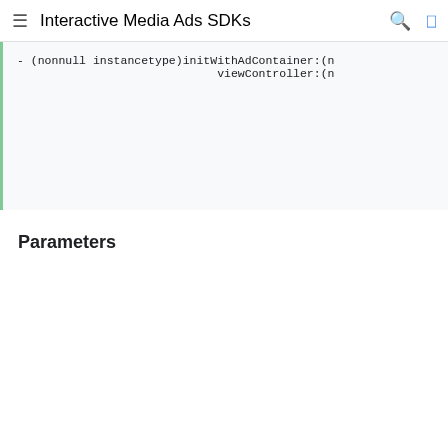Interactive Media Ads SDKs
- (nonnull instancetype)initWithAdContainer:(n
                             viewController:(n
Parameters
| Parameter | Description |
| --- | --- |
| adContainer | The view where the ad will be rendered. Fills the view's bounds. |
| adContainerViewController | The view controller containing the ad container. If not provided here, must be set on the property before making an ads or stream request. |